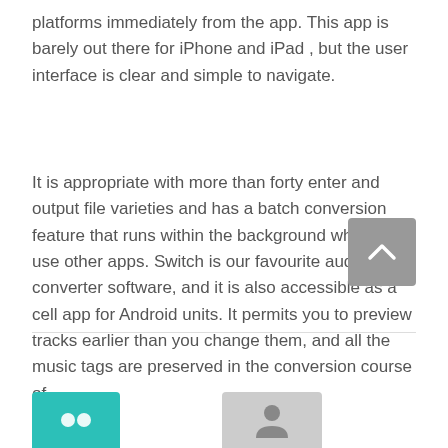platforms immediately from the app. This app is barely out there for iPhone and iPad , but the user interface is clear and simple to navigate.
It is appropriate with more than forty enter and output file varieties and has a batch conversion feature that runs within the background while you use other apps. Switch is our favourite audio converter software, and it is also accessible as a cell app for Android units. It permits you to preview tracks earlier than you change them, and all the music tags are preserved in the conversion course of.
[Figure (other): Scroll-to-top button — a gray square with an upward-pointing caret/chevron icon]
[Figure (other): Teal/cyan box at bottom left (partially visible) — likely a social share or navigation button]
[Figure (other): Gray box at bottom center (partially visible) — likely a social share or navigation button with a person/profile icon]